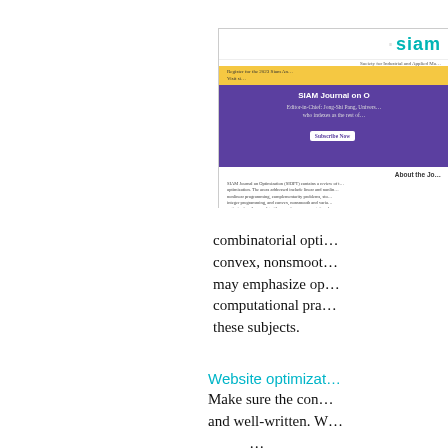[Figure (screenshot): Screenshot of SIAM (Society for Industrial and Applied Mathematics) website showing the SIAM Journal on Optimization page with purple header, editor-in-chief info, Subscribe Now button, and About the Journal text.]
combinatorial optimization, convex, nonsmooth, … may emphasize optimization theory, algorithms, software, computational practice, or applications to these subjects.
Website optimization
Make sure the content is accurate and well-written. W…